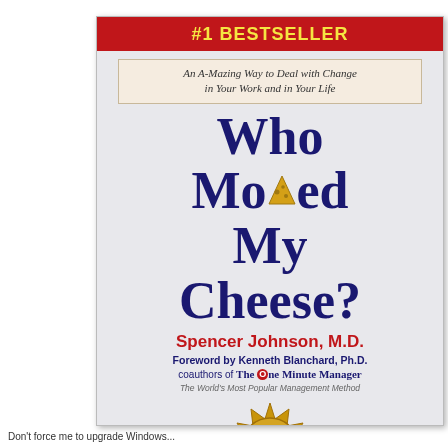[Figure (illustration): Book cover of 'Who Moved My Cheese?' by Spencer Johnson, M.D. The cover shows a red '#1 BESTSELLER' banner at top, a subtitle 'An A-Mazing Way to Deal with Change in Your Work and in Your Life' in a beige box, the main title in large dark navy serif font with a cheese wedge replacing the letter 'o' in 'Moved', the author name Spencer Johnson M.D. in red, foreword credit to Kenneth Blanchard Ph.D. in navy, coauthor credit for The One Minute Manager, and a gold seal reading 'A GEM – SMALL AND VALUABLE' at the bottom.]
Don't force me to upgrade Windows...